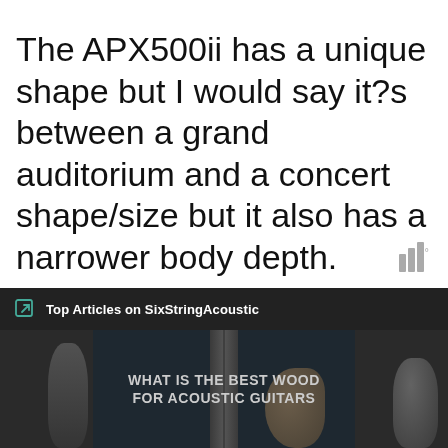[Figure (other): Weather or signal strength bar icon with degree symbol in top-right area]
The APX500ii has a unique shape but I would say it?s between a grand auditorium and a concert shape/size but it also has a narrower body depth.
[Figure (screenshot): Dark banner showing 'Top Articles on SixStringAcoustic' header with link icon, followed by article thumbnails featuring guitar images and text 'WHAT IS THE BEST WOOD FOR ACOUSTIC GUITARS']